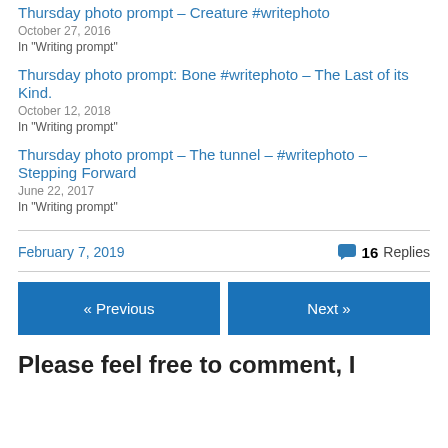Thursday photo prompt – Creature #writephoto
October 27, 2016
In "Writing prompt"
Thursday photo prompt: Bone #writephoto – The Last of its Kind.
October 12, 2018
In "Writing prompt"
Thursday photo prompt – The tunnel – #writephoto – Stepping Forward
June 22, 2017
In "Writing prompt"
February 7, 2019
16 Replies
« Previous
Next »
Please feel free to comment, I